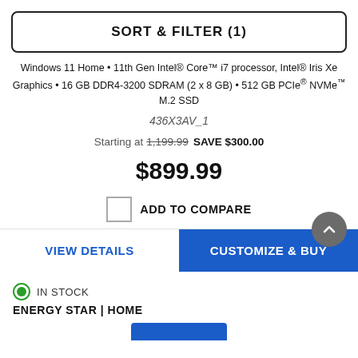SORT & FILTER (1)
Windows 11 Home • 11th Gen Intel® Core™ i7 processor, Intel® Iris Xe Graphics • 16 GB DDR4-3200 SDRAM (2 x 8 GB) • 512 GB PCIe® NVMe™ M.2 SSD
436X3AV_1
Starting at 1,199.99 SAVE $300.00 $899.99
ADD TO COMPARE
VIEW DETAILS
CUSTOMIZE & BUY
IN STOCK
ENERGY STAR | HOME